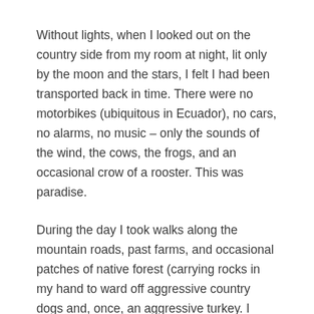Without lights, when I looked out on the country side from my room at night, lit only by the moon and the stars, I felt I had been transported back in time. There were no motorbikes (ubiquitous in Ecuador), no cars, no alarms, no music – only the sounds of the wind, the cows, the frogs, and an occasional crow of a rooster. This was paradise.
During the day I took walks along the mountain roads, past farms, and occasional patches of native forest (carrying rocks in my hand to ward off aggressive country dogs and, once, an aggressive turkey. I really only had to actually throw them once – and intentionally missed. It was enough to scare of my aggressor.)